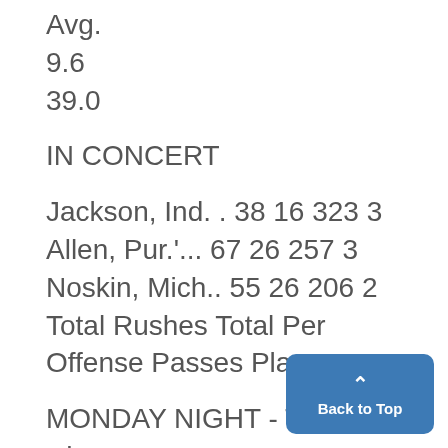Avg.
9.6
39.0
IN CONCERT
Jackson, Ind. . 38 16 323 3
Allen, Pur.'... 67 26 257 3
Noskin, Mich.. 55 26 206 2
Total Rushes Total Per Offense Passes Play
MONDAY NIGHT - That's when Montpetit and hi